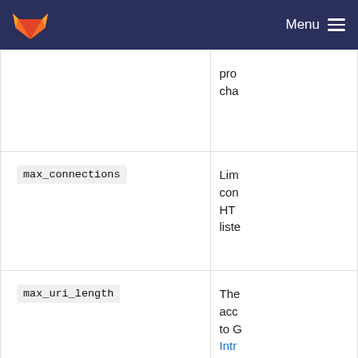GitLab — Menu
| Key | Description |
| --- | --- |
|  | pro
cha |
| max_connections | Lim
con
HT
liste |
| max_uri_length | The
acc
to G
Intr |
| metrics_address | The
me |
| redirect_http | Red
HT |
| sentry_dsn | The
cra |